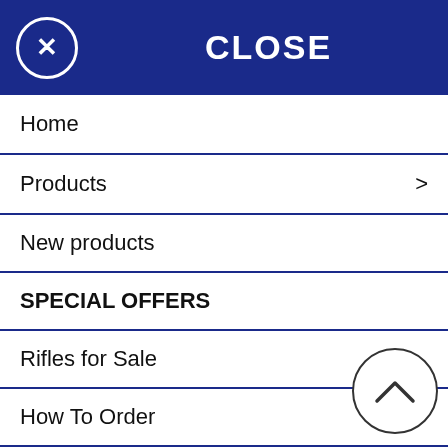[Figure (screenshot): Navigation overlay menu with dark blue header containing X close button and CLOSE label, with menu items: Home, Products (with arrow), New products, SPECIAL OFFERS, Rifles for Sale, How To Order, Useful Sites, Contact / Visit Us. Behind the overlay, partially visible article text and a white popup box are shown on the right side.]
Home
Products >
New products
SPECIAL OFFERS
Rifles for Sale
How To Order
Useful Sites
Contact / Visit Us